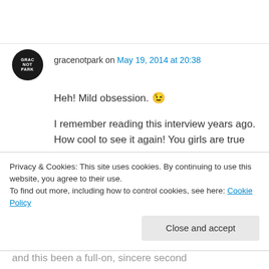gracenotpark on May 19, 2014 at 20:38
Heh! Mild obsession. 😉
I remember reading this interview years ago. How cool to see it again! You girls are true investigators. It must have been extremely fun being there at this event. And he looks so adorable and excited and young here. Sounds like he truly believed there'd be a second...
Privacy & Cookies: This site uses cookies. By continuing to use this website, you agree to their use.
To find out more, including how to control cookies, see here: Cookie Policy
Close and accept